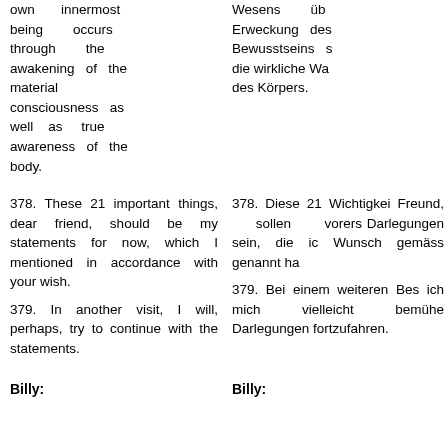own innermost being occurs through the awakening of the material consciousness as well as true awareness of the body.
Wesens üb Erweckung des Bewusstseins s die wirkliche Wa des Körpers.
378. These 21 important things, dear friend, should be my statements for now, which I mentioned in accordance with your wish.
378. Diese 21 Wichtigkei Freund, sollen vorers Darlegungen sein, die ic Wunsch gemäss genannt ha
379. In another visit, I will, perhaps, try to continue with the statements.
379. Bei einem weiteren Bes ich mich vielleicht bemühe Darlegungen fortzufahren.
Billy:
Billy: